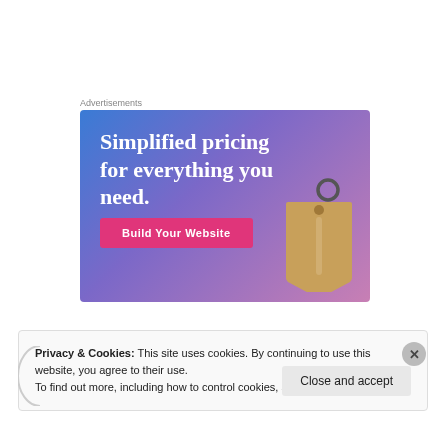Advertisements
[Figure (photo): Advertisement banner with gradient blue-purple background showing text 'Simplified pricing for everything you need.' with a pink 'Build Your Website' button and a tan price tag illustration on the right.]
Privacy & Cookies: This site uses cookies. By continuing to use this website, you agree to their use.
To find out more, including how to control cookies, see here: Cookie Policy
Close and accept